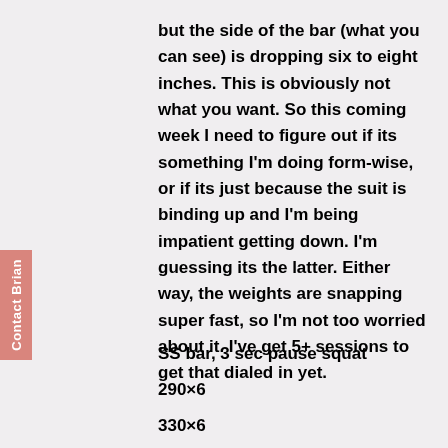but the side of the bar (what you can see) is dropping six to eight inches. This is obviously not what you want. So this coming week I need to figure out if its something I'm doing form-wise, or if its just because the suit is binding up and I'm being impatient getting down. I'm guessing its the latter. Either way, the weights are snapping super fast, so I'm not too worried about it. I've get 5+ sessions to get that dialed in yet.
SS bar, 3 sec pause squat
290×6
330×6